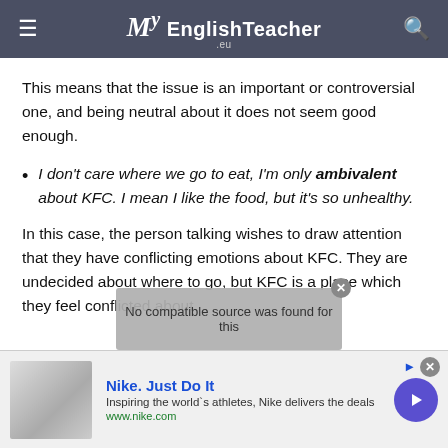My EnglishTeacher .eu
This means that the issue is an important or controversial one, and being neutral about it does not seem good enough.
I don't care where we go to eat, I'm only ambivalent about KFC. I mean I like the food, but it's so unhealthy.
In this case, the person talking wishes to draw attention that they have conflicting emotions about KFC. They are undecided about where to go, but KFC is a place which they feel conflicted about.
[Figure (screenshot): Video overlay saying 'No compatible source was found for this' with a close button]
[Figure (screenshot): Nike advertisement: 'Nike. Just Do It' with description 'Inspiring the world's athletes, Nike delivers the deals' and url www.nike.com, with arrow button and close button]